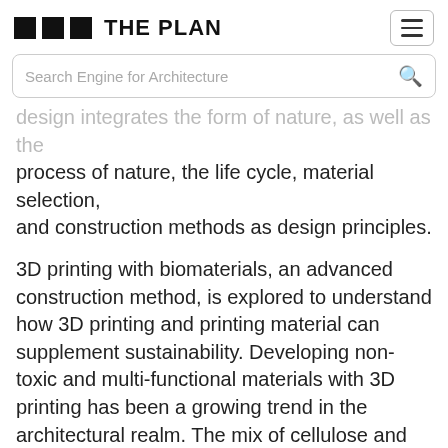THE PLAN
design integrates the form of nature, as well as the process of nature, the life cycle, material selection, and construction methods as design principles.
3D printing with biomaterials, an advanced construction method, is explored to understand how 3D printing and printing material can supplement sustainability. Developing non-toxic and multi-functional materials with 3D printing has been a growing trend in the architectural realm. The mix of cellulose and chitin, the two most abundant biomaterials on Earth, display immense structural strength. Controlling the concentration of chitin can create transparency difference, which can be used for lighting and potential openings.